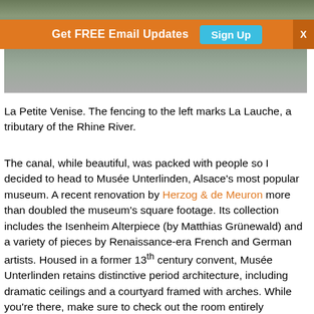[Figure (photo): Top portion of a street scene photo showing people and bicycles near La Petite Venise, Colmar, with orange construction cones visible]
[Figure (infographic): Orange banner bar reading 'Get FREE Email Updates' with a teal 'Sign Up' button and an X close button]
La Petite Venise. The fencing to the left marks La Lauche, a tributary of the Rhine River.
The canal, while beautiful, was packed with people so I decided to head to Musée Unterlinden, Alsace's most popular museum. A recent renovation by Herzog & de Meuron more than doubled the museum's square footage. Its collection includes the Isenheim Alterpiece (by Matthias Grünewald) and a variety of pieces by Renaissance-era French and German artists. Housed in a former 13th century convent, Musée Unterlinden retains distinctive period architecture, including dramatic ceilings and a courtyard framed with arches. While you're there, make sure to check out the room entirely dedicated to recently-acquired wine barrels.